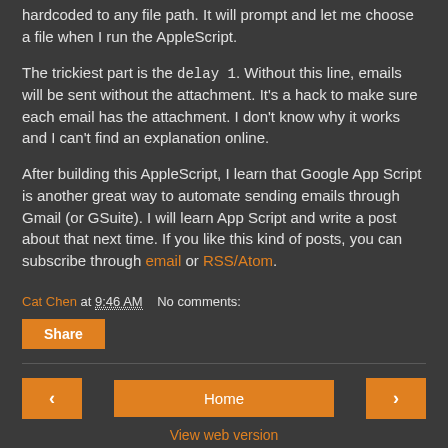hardcoded to any file path. It will prompt and let me choose a file when I run the AppleScript.
The trickiest part is the delay 1. Without this line, emails will be sent without the attachment. It's a hack to make sure each email has the attachment. I don't know why it works and I can't find an explanation online.
After building this AppleScript, I learn that Google App Script is another great way to automate sending emails through Gmail (or GSuite). I will learn App Script and write a post about that next time. If you like this kind of posts, you can subscribe through email or RSS/Atom.
Cat Chen at 9:46 AM   No comments:
Share
Home | View web version